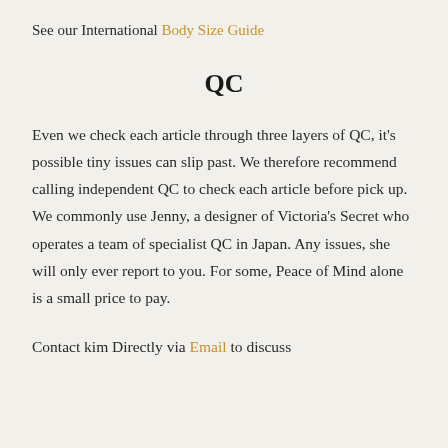See our International Body Size Guide
QC
Even we check each article through three layers of QC, it's possible tiny issues can slip past. We therefore recommend calling independent QC to check each article before pick up. We commonly use Jenny, a designer of Victoria's Secret who operates a team of specialist QC in Japan. Any issues, she will only ever report to you. For some, Peace of Mind alone is a small price to pay.
Contact kim Directly via Email to discuss